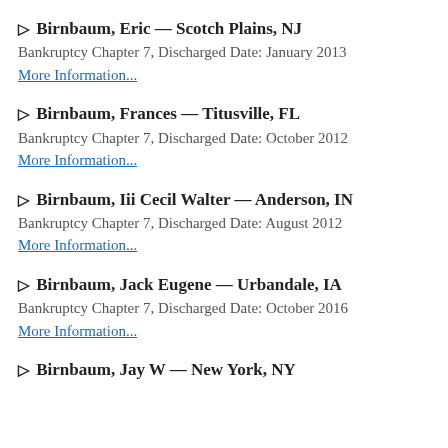▷ Birnbaum, Eric — Scotch Plains, NJ
Bankruptcy Chapter 7, Discharged Date: January 2013
More Information...
▷ Birnbaum, Frances — Titusville, FL
Bankruptcy Chapter 7, Discharged Date: October 2012
More Information...
▷ Birnbaum, Iii Cecil Walter — Anderson, IN
Bankruptcy Chapter 7, Discharged Date: August 2012
More Information...
▷ Birnbaum, Jack Eugene — Urbandale, IA
Bankruptcy Chapter 7, Discharged Date: October 2016
More Information...
▷ Birnbaum, Jay W — New York, NY